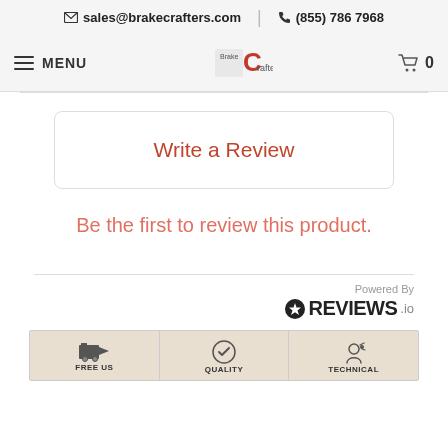sales@brakecrafters.com | (855) 786 7968
[Figure (screenshot): BrakeCrafters website navigation bar with hamburger menu, logo, and cart icon showing 0 items]
Write a Review
Be the first to review this product.
[Figure (logo): Powered By REVIEWS.io logo]
[Figure (infographic): Footer icons bar showing FREE US, QUALITY, TECHNICAL sections with icons]